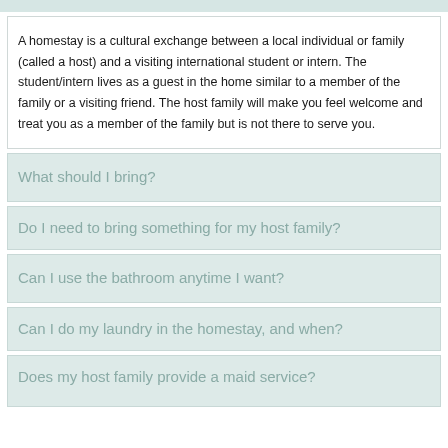A homestay is a cultural exchange between a local individual or family (called a host) and a visiting international student or intern. The student/intern lives as a guest in the home similar to a member of the family or a visiting friend. The host family will make you feel welcome and treat you as a member of the family but is not there to serve you.
What should I bring?
Do I need to bring something for my host family?
Can I use the bathroom anytime I want?
Can I do my laundry in the homestay, and when?
Does my host family provide a maid service?